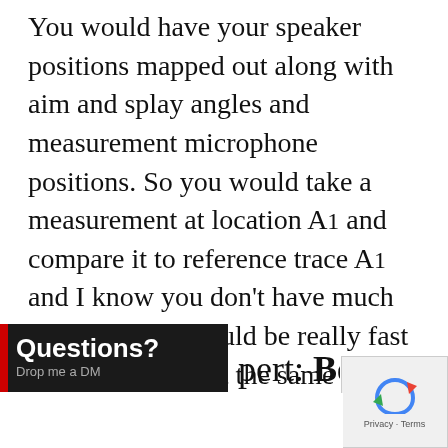You would have your speaker positions mapped out along with aim and splay angles and measurement microphone positions. So you would take a measurement at location A1 and compare it to reference trace A1 and I know you don't have much time, but this should be really fast if you are doing it the same way every time, just verifying that things are as they should be.
[Figure (screenshot): Dark overlay banner with red left border, bold white text 'Questions?' and smaller grey text 'Drop me a DM']
pert: Best
[Figure (logo): reCAPTCHA widget with Privacy · Terms text]